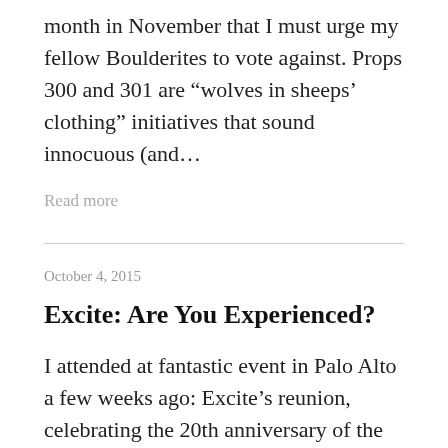month in November that I must urge my fellow Boulderites to vote against. Props 300 and 301 are “wolves in sheeps’ clothing” initiatives that sound innocuous (and…
Read more
October 4, 2015
Excite: Are You Experienced?
I attended at fantastic event in Palo Alto a few weeks ago: Excite’s reunion, celebrating the 20th anniversary of the launch of Excite.com. (Fun inverse exponential